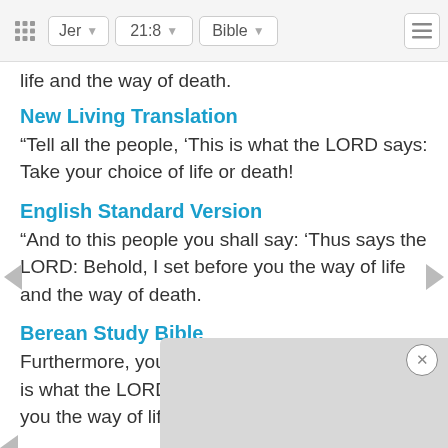Jer  21:8  Bible
life and the way of death.
New Living Translation
“Tell all the people, ‘This is what the LORD says: Take your choice of life or death!
English Standard Version
“And to this people you shall say: ‘Thus says the LORD: Behold, I set before you the way of life and the way of death.
Berean Study Bible
Furthermore, you are to tell this people that this is what the LORD says: ‘Behold, I set before you the way of life and the way of death.
King James Bible
And u[...] the LORD[...] and th[...]